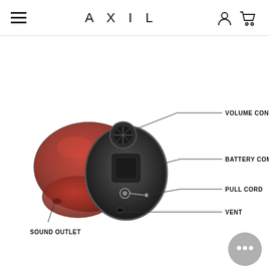AXIL
[Figure (engineering-diagram): Exploded/labeled diagram of a red in-ear hearing device (ITE hearing aid) showing: Volume Control Wheel, Battery Compartment Door, Pull Cord, Vent, and Sound Outlet components with callout lines.]